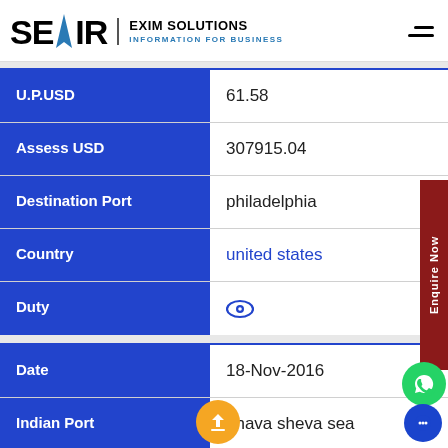SEAIR EXIM SOLUTIONS – INFORMATION FOR BUSINESS
| Field | Value |
| --- | --- |
| U.P.USD | 61.58 |
| Assess USD | 307915.04 |
| Destination Port | philadelphia |
| Country | united states |
| Duty | (eye icon) |
| Date | 18-Nov-2016 |
| Indian Port | nhava sheva sea |